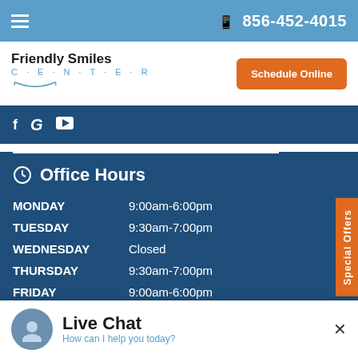856-452-4015
[Figure (logo): Friendly Smiles Center logo with text and smile graphic]
Schedule Online
[Figure (infographic): Social media icons: Facebook, Google, YouTube]
Office Hours
| Day | Hours |
| --- | --- |
| MONDAY | 9:00am-6:00pm |
| TUESDAY | 9:30am-7:00pm |
| WEDNESDAY | Closed |
| THURSDAY | 9:30am-7:00pm |
| FRIDAY | 9:00am-6:00pm |
| SATURDAY | Closed |
| SUNDAY | Closed |
Special Offers
Live Chat
How can I help you today?